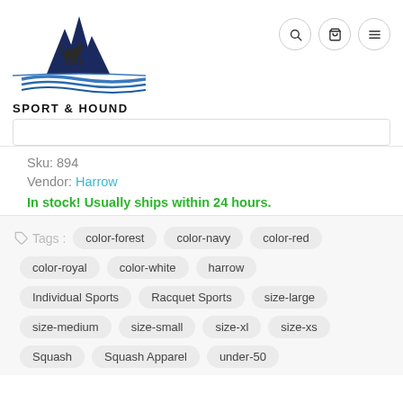[Figure (logo): Sport & Hound logo with mountain peaks and dog silhouette above blue water waves, with text SPORT & HOUND below]
Sku: 894
Vendor: Harrow
In stock! Usually ships within 24 hours.
Tags: color-forest, color-navy, color-red, color-royal, color-white, harrow, Individual Sports, Racquet Sports, size-large, size-medium, size-small, size-xl, size-xs, Squash, Squash Apparel, under-50